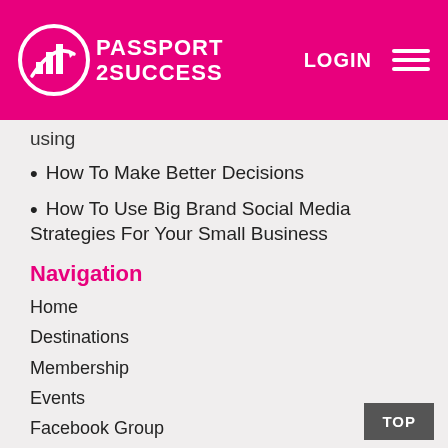PASSPORT 2SUCCESS | LOGIN
using
How To Make Better Decisions
How To Use Big Brand Social Media Strategies For Your Small Business
Navigation
Home
Destinations
Membership
Events
Facebook Group
News
Videos
Blog
Contact